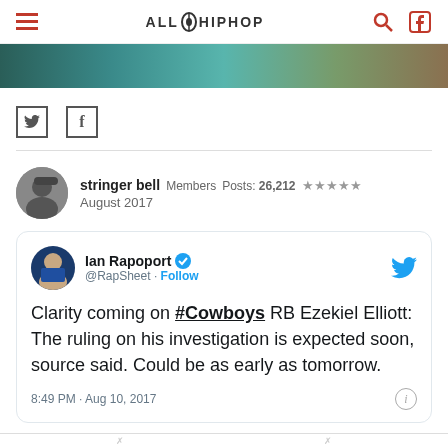ALLHIPHOP - site navigation header with hamburger menu, search, and login icons
[Figure (photo): Banner image strip showing people in teal/green tones]
[Figure (illustration): Social share icons: Twitter bird square and Facebook f]
stringer bell   Members   Posts: 26,212   ★★★★★
August 2017
Ian Rapoport @RapSheet · Follow
Clarity coming on #Cowboys RB Ezekiel Elliott: The ruling on his investigation is expected soon, source said. Could be as early as tomorrow.
8:49 PM · Aug 10, 2017